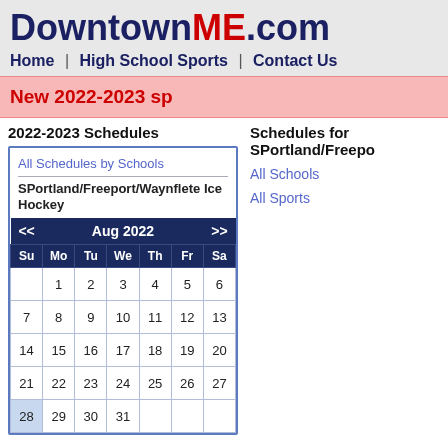DowntownME.com
Home | High School Sports | Contact Us
New 2022-2023 sp...
2022-2023 Schedules
All Schedules by Schools
SPortland/Freeport/Waynflete Ice Hockey
| Su | Mo | Tu | We | Th | Fr | Sa |
| --- | --- | --- | --- | --- | --- | --- |
|  | 1 | 2 | 3 | 4 | 5 | 6 |
| 7 | 8 | 9 | 10 | 11 | 12 | 13 |
| 14 | 15 | 16 | 17 | 18 | 19 | 20 |
| 21 | 22 | 23 | 24 | 25 | 26 | 27 |
| 28 | 29 | 30 | 31 |  |  |  |
Schedules for SPortland/Freepo...
All Schools
All Sports